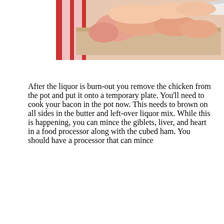[Figure (photo): A person cutting raw chicken pieces on a cutting board with a knife. Red and white striped background visible.]
After the liquor is burn-out you remove the chicken from the pot and put it onto a temporary plate. You'll need to cook your bacon in the pot now. This needs to brown on all sides in the butter and left-over liquor mix. While this is happening, you can mince the giblets, liver, and heart in a food processor along with the cubed ham. You should have a processor that can mince